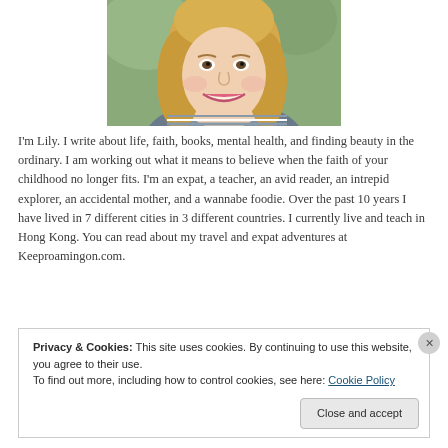[Figure (photo): Portrait photo of a smiling young blonde woman, cropped to show face and upper shoulders, outdoors background]
I'm Lily. I write about life, faith, books, mental health, and finding beauty in the ordinary. I am working out what it means to believe when the faith of your childhood no longer fits. I'm an expat, a teacher, an avid reader, an intrepid explorer, an accidental mother, and a wannabe foodie. Over the past 10 years I have lived in 7 different cities in 3 different countries. I currently live and teach in Hong Kong. You can read about my travel and expat adventures at Keeproamingon.com.
Privacy & Cookies: This site uses cookies. By continuing to use this website, you agree to their use.
To find out more, including how to control cookies, see here: Cookie Policy